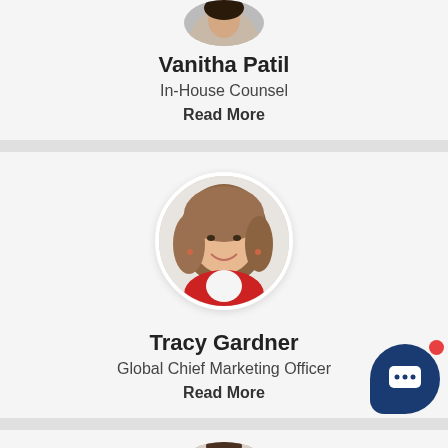[Figure (photo): Circular profile photo of Vanitha Patil (partially cropped at top)]
Vanitha Patil
In-House Counsel
Read More
[Figure (photo): Circular profile photo of Tracy Gardner, woman with brown hair, wearing red jacket]
Tracy Gardner
Global Chief Marketing Officer
Read More
[Figure (photo): Circular profile photo of a third person, partially visible at bottom of page]